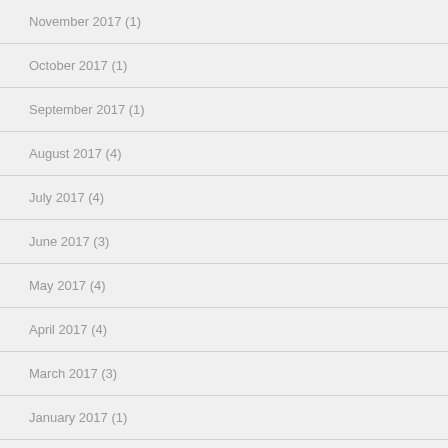November 2017 (1)
October 2017 (1)
September 2017 (1)
August 2017 (4)
July 2017 (4)
June 2017 (3)
May 2017 (4)
April 2017 (4)
March 2017 (3)
January 2017 (1)